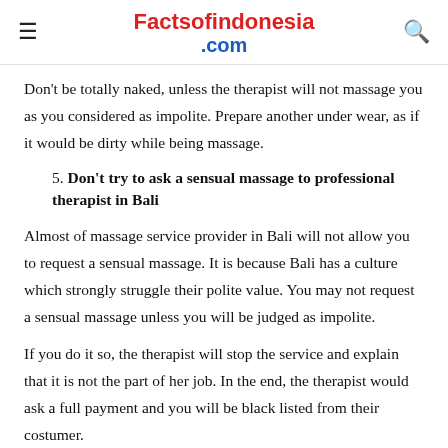Factsofindonesia.com
Don't be totally naked, unless the therapist will not massage you as you considered as impolite. Prepare another under wear, as if it would be dirty while being massage.
5. Don't try to ask a sensual massage to professional therapist in Bali
Almost of massage service provider in Bali will not allow you to request a sensual massage. It is because Bali has a culture which strongly struggle their polite value. You may not request a sensual massage unless you will be judged as impolite.
If you do it so, the therapist will stop the service and explain that it is not the part of her job. In the end, the therapist would ask a full payment and you will be black listed from their costumer.